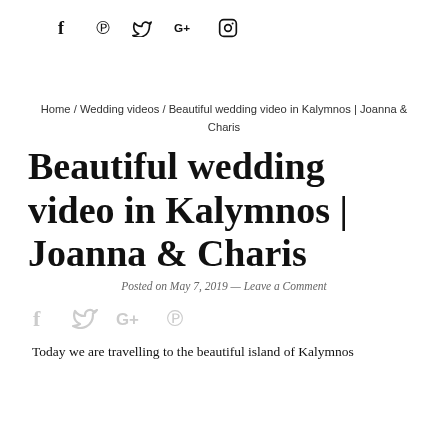f  p  w  G+  Instagram icons
Home / Wedding videos / Beautiful wedding video in Kalymnos | Joanna & Charis
Beautiful wedding video in Kalymnos | Joanna & Charis
Posted on May 7, 2019 — Leave a Comment
f  w  G+  p share icons
Today we are travelling to the beautiful island of Kalymnos